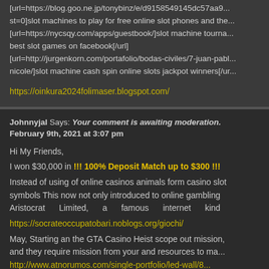[url=https://blog.goo.ne.jp/tonybinz/e/d9158549145dc57aa9... st=0]slot machines to play for free online slot phones and the... [url=https://nycsqy.com/apps/guestbook/]slot machine tourna... best slot games on facebook[/url] [url=http://jurgenkorn.com/portafolio/bodas-civiles/7-juan-pabl... nicole/]slot machine cash spin online slots jackpot winners[/ur...
https://oinkura2024folimaser.blogspot.com/
Johnnyjal Says: Your comment is awaiting moderation.
February 9th, 2021 at 3:07 pm
Hi My Friends,
I won $30,000 in !!! 100% Deposit Match up to $300 !!! Instead of using of online casinos animals form casino slot symbols This now not only introduced to online gambling Aristocrat Limited, a famous internet kind
https://socrateoccupatobari.noblogs.org/giochi/
May, Starting an the GTA Casino Heist scope out mission, and they require mission from your and resources to ma... http://www.atnorumos.com/single-portfolio/led-wall/8...